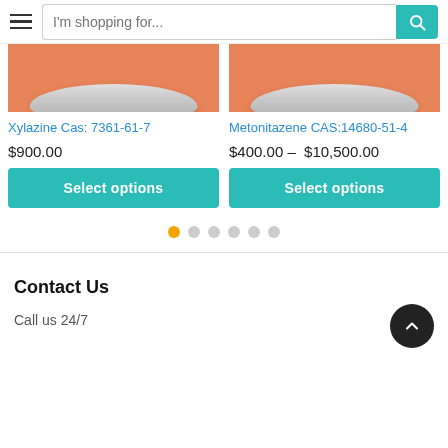I'm shopping for...
[Figure (photo): Product image of Xylazine on orange background]
Xylazine Cas: 7361-61-7
$900.00
Select options
[Figure (photo): Product image of Metonitazene on orange background]
Metonitazene CAS:14680-51-4
$400.00 – $10,500.00
Select options
Contact Us
Call us 24/7